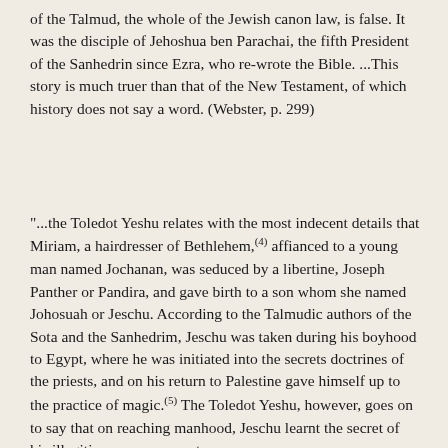of the Talmud, the whole of the Jewish canon law, is false. It was the disciple of Jehoshua ben Parachai, the fifth President of the Sanhedrin since Ezra, who re-wrote the Bible. ...This story is much truer than that of the New Testament, of which history does not say a word. (Webster, p. 299)
"...the Toledot Yeshu relates with the most indecent details that Miriam, a hairdresser of Bethlehem,(4) affianced to a young man named Jochanan, was seduced by a libertine, Joseph Panther or Pandira, and gave birth to a son whom she named Johosuah or Jeschu. According to the Talmudic authors of the Sota and the Sanhedrim, Jeschu was taken during his boyhood to Egypt, where he was initiated into the secrets doctrines of the priests, and on his return to Palestine gave himself up to the practice of magic.(5) The Toledot Yeshu, however, goes on to say that on reaching manhood, Jeschu learnt the secret of his illegitimacy, on account